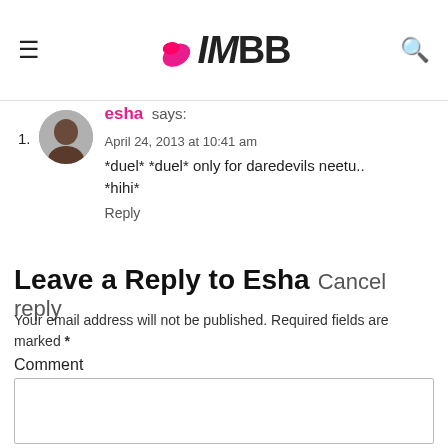IMBB
esha says:
April 24, 2013 at 10:41 am
*duel* *duel* only for daredevils neetu.. *hihi*
Reply
Leave a Reply to Esha Cancel reply
Your email address will not be published. Required fields are marked *
Comment